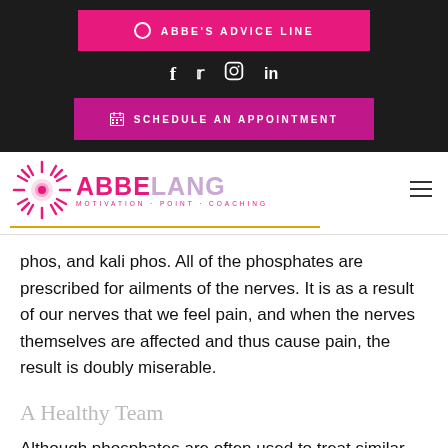ABBE'S ADVICE LINE
f  t  Instagram  in
SCHEDULE AN APPOINTMENT
[Figure (logo): Abbe Lang Motivation Point Coaching logo with sunburst icon]
phos, and kali phos. All of the phosphates are prescribed for ailments of the nerves. It is as a result of our nerves that we feel pain, and when the nerves themselves are affected and thus cause pain, the result is doubly miserable.
A Healthy Team
Although phosphates are often used to treat similar ailments, it is important to understand